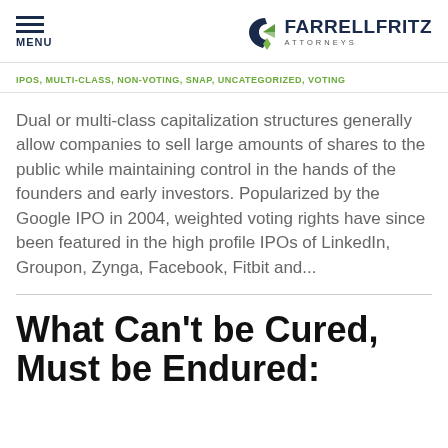MENU | FARRELL FRITZ ATTORNEYS
IPOS, MULTI-CLASS, NON-VOTING, SNAP, UNCATEGORIZED, VOTING
Dual or multi-class capitalization structures generally allow companies to sell large amounts of shares to the public while maintaining control in the hands of the founders and early investors. Popularized by the Google IPO in 2004, weighted voting rights have since been featured in the high profile IPOs of LinkedIn, Groupon, Zynga, Facebook, Fitbit and...
What Can't be Cured, Must be Endured: